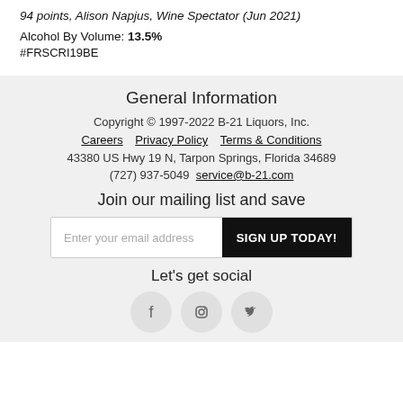94 points, Alison Napjus, Wine Spectator (Jun 2021)
Alcohol By Volume: 13.5%
#FRSCRI19BE
General Information
Copyright © 1997-2022 B-21 Liquors, Inc.
Careers   Privacy Policy   Terms & Conditions
43380 US Hwy 19 N, Tarpon Springs, Florida 34689
(727) 937-5049   service@b-21.com
Join our mailing list and save
Enter your email address   SIGN UP TODAY!
Let's get social
[Figure (illustration): Social media icons: Facebook, Instagram, Twitter in circular grey buttons]